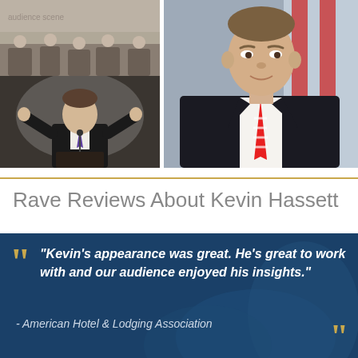[Figure (photo): Collage of three photos: top-left shows a crowd/audience scene, bottom-left shows a man in a dark suit speaking at a podium with hands raised, right shows a man in a dark suit and striped red tie in close-up portrait]
Rave Reviews About Kevin Hassett
"Kevin's appearance was great. He's great to work with and our audience enjoyed his insights."
- American Hotel & Lodging Association